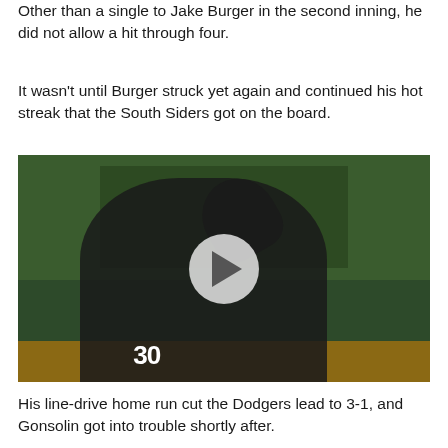Other than a single to Jake Burger in the second inning, he did not allow a hit through four.
It wasn't until Burger struck yet again and continued his hot streak that the South Siders got on the board.
[Figure (photo): Baseball player wearing jersey number 30 (Chicago White Sox) pointing upward after hitting a home run, photographed on the field at night.]
His line-drive home run cut the Dodgers lead to 3-1, and Gonsolin got into trouble shortly after.